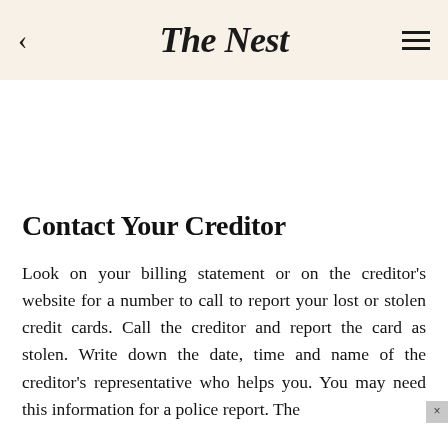The Nest
Contact Your Creditor
Look on your billing statement or on the creditor's website for a number to call to report your lost or stolen credit cards. Call the creditor and report the card as stolen. Write down the date, time and name of the creditor's representative who helps you. You may need this information for a police report. The